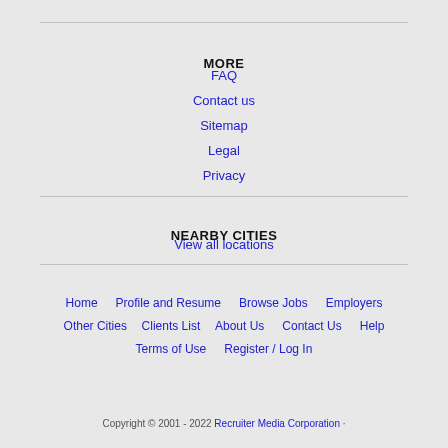MORE
FAQ
Contact us
Sitemap
Legal
Privacy
NEARBY CITIES
View all locations
Home  Profile and Resume  Browse Jobs  Employers  Other Cities  Clients List  About Us  Contact Us  Help  Terms of Use  Register / Log In
Copyright © 2001 - 2022 Recruiter Media Corporation ·